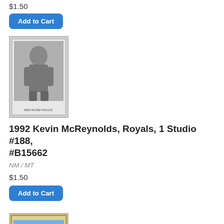$1.50
Add to Cart
[Figure (photo): Baseball card photo: Kevin McReynolds in black and white, wearing jersey #22, Studio brand card]
1992 Kevin McReynolds, Royals, 1 Studio #188, #B15662
NM / MT
$1.50
Add to Cart
[Figure (photo): Baseball card photo: Kevin McReynolds in color, Topps brand card, player batting or fielding pose]
1992 Kevin McReynolds, Royals, 1 Topps #71T, #B15663